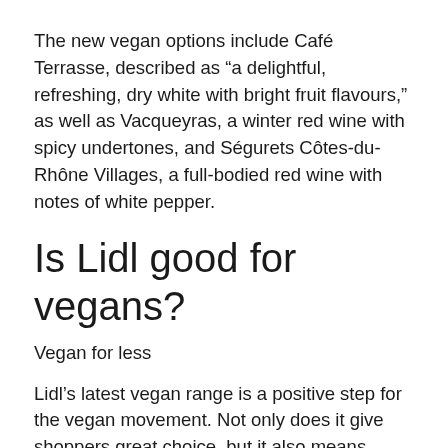The new vegan options include Café Terrasse, described as “a delightful, refreshing, dry white with bright fruit flavours,” as well as Vacqueyras, a winter red wine with spicy undertones, and Ségurets Côtes-du-Rhône Villages, a full-bodied red wine with notes of white pepper.
Is Lidl good for vegans?
Vegan for less
Lidl’s latest vegan range is a positive step for the vegan movement. Not only does it give shoppers great choice, but it also means people can enjoy vegan products and treats for low prices. Prices for the Vermondo